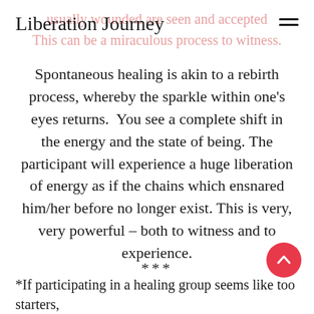Liberation Journey
usually wounded are seen and accepted
This can be a miraculous process to witness.
Spontaneous healing is akin to a rebirth process, whereby the sparkle within one's eyes returns. You see a complete shift in the energy and the state of being. The participant will experience a huge liberation of energy as if the chains which ensnared him/her before no longer exist. This is very, very powerful – both to witness and to experience.
***
*If participating in a healing group seems like too much for starters, you may want to